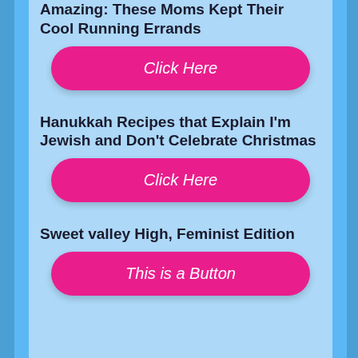Amazing: These Moms Kept Their Cool Running Errands
Click Here
Hanukkah Recipes that Explain I'm Jewish and Don't Celebrate Christmas
Click Here
Sweet valley High, Feminist Edition
This is a Button